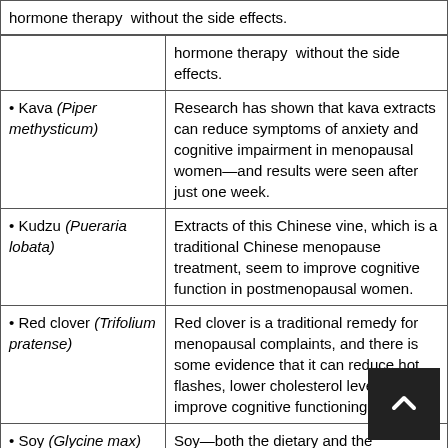| Herb | Description |
| --- | --- |
| • Kava (Piper methysticum) | Research has shown that kava extracts can reduce symptoms of anxiety and cognitive impairment in menopausal women—and results were seen after just one week. |
| • Kudzu (Pueraria lobata) | Extracts of this Chinese vine, which is a traditional Chinese menopause treatment, seem to improve cognitive function in postmenopausal women. |
| • Red clover (Trifolium pratense) | Red clover is a traditional remedy for menopausal complaints, and there is some evidence that it can reduce hot flashes, lower cholesterol levels, and improve cognitive functioning. |
| • Soy (Glycine max) | Soy—both the dietary and the supplemental kind—can decrease the severity and frequency of hot flashes. In some studies, the effects were similar to those of pharmaceutical hormone therapy. |
| • Saint John's | Research shows that a combination of Saint |